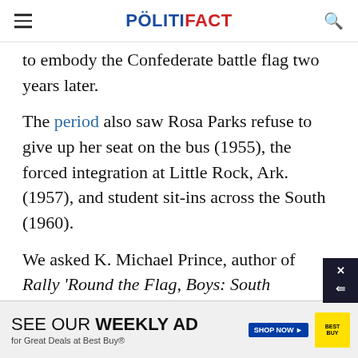POLITIFACT
to embody the Confederate battle flag two years later.
The period also saw Rosa Parks refuse to give up her seat on the bus (1955), the forced integration at Little Rock, Ark. (1957), and student sit-ins across the South (1960).
We asked K. Michael Prince, author of Rally 'Round the Flag, Boys: South Carolina and the Confederate Flag, if he could pinpoint the [cause] [battle]